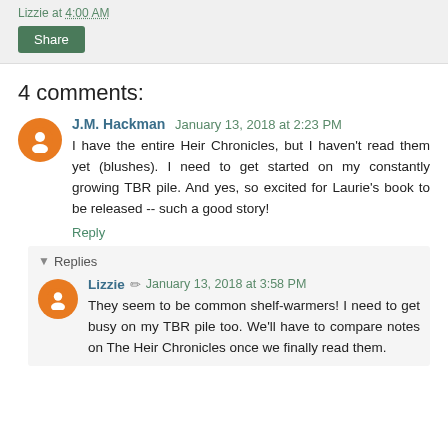Lizzie at 4:00 AM
Share
4 comments:
J.M. Hackman January 13, 2018 at 2:23 PM
I have the entire Heir Chronicles, but I haven't read them yet (blushes). I need to get started on my constantly growing TBR pile. And yes, so excited for Laurie's book to be released -- such a good story!
Reply
Replies
Lizzie January 13, 2018 at 3:58 PM
They seem to be common shelf-warmers! I need to get busy on my TBR pile too. We'll have to compare notes on The Heir Chronicles once we finally read them.